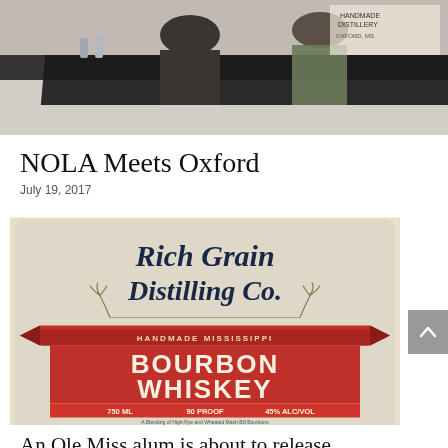[Figure (photo): Two people standing behind a counter or bar, indoors, with items on the counter. Partial top of image visible.]
NOLA Meets Oxford
July 19, 2017
[Figure (photo): Close-up of a bottle label for Rich Grain Distilling Co. Handmade Mississippi Bourbon Whiskey, 750 ML, 90 Proof, 45% ALC/VOL. A blending of High-Rye and Wheated Mash Bill Bourbons.]
An Ole Miss alum is about to release Mississippi's first (legally)